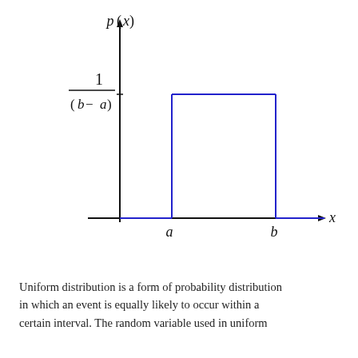[Figure (continuous-plot): Uniform distribution graph showing p(x) on y-axis and x on x-axis. A rectangle (uniform PDF) is drawn in blue from x=a to x=b at height 1/(b-a). The y-axis label is p(x), and the x-axis label is x. The value 1/(b-a) is marked on the y-axis. The points a and b are labeled on the x-axis.]
Uniform distribution is a form of probability distribution in which an event is equally likely to occur within a certain interval. The random variable used in uniform